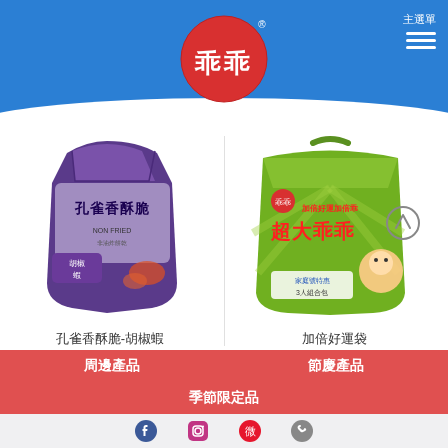[Figure (logo): 乖乖 brand logo - red circle with white Chinese characters 乖乖 and registered trademark symbol, on blue header background]
[Figure (screenshot): 主選單 (Main Menu) navigation icon with three horizontal lines (hamburger menu) in top right, white on blue background]
[Figure (photo): 孔雀香酥脆-胡椒蝦 (Peacock crispy snack - pepper shrimp flavor) product - purple snack bag with illustrated characters]
[Figure (photo): 加倍好運袋 (Double Lucky Bag) product - large green family-size bag of 乖乖 snacks with cartoon mascot]
孔雀香酥脆-胡椒蝦
加倍好運袋
周邊產品
節慶產品
季節限定品
[Figure (infographic): Social media icons row at bottom: Facebook, Instagram, Weibo, and a phone/contact icon]